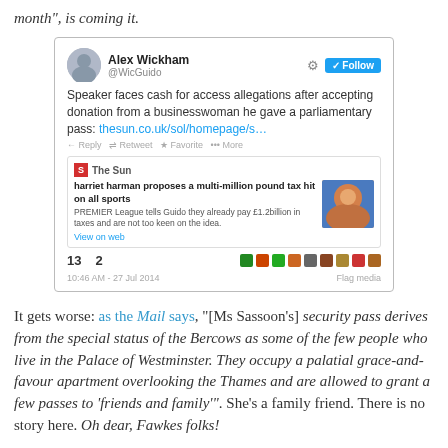month", is coming it.
[Figure (screenshot): Screenshot of a tweet by Alex Wickham (@WicGuido) with a Follow button, reading: 'Speaker faces cash for access allegations after accepting donation from a businesswoman he gave a parliamentary pass: thesun.co.uk/sol/homepage/s...' with a linked Sun newspaper card showing headline 'harriet harman proposes a multi-million pound tax hit on all sports' and showing 13 retweets, 2 favorites, timestamped 10:46 AM - 27 Jul 2014]
It gets worse: as the Mail says, "[Ms Sassoon's] security pass derives from the special status of the Bercows as some of the few people who live in the Palace of Westminster. They occupy a palatial grace-and-favour apartment overlooking the Thames and are allowed to grant a few passes to 'friends and family'". She's a family friend. There is no story here. Oh dear, Fawkes folks!
The Owen Jones smear could be pulled in order to avoid